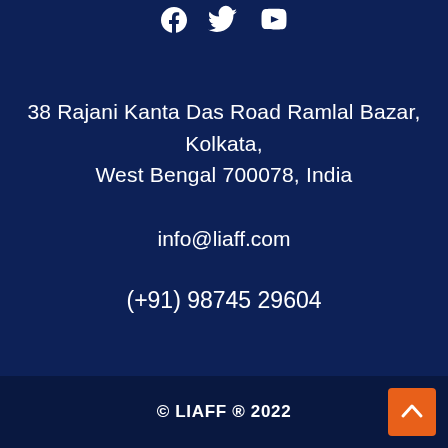[Figure (illustration): Social media icons: Facebook, Twitter, YouTube in white on dark blue background]
38 Rajani Kanta Das Road Ramlal Bazar, Kolkata, West Bengal 700078, India
info@liaff.com
(+91) 98745 29604
© LIAFF ® 2022